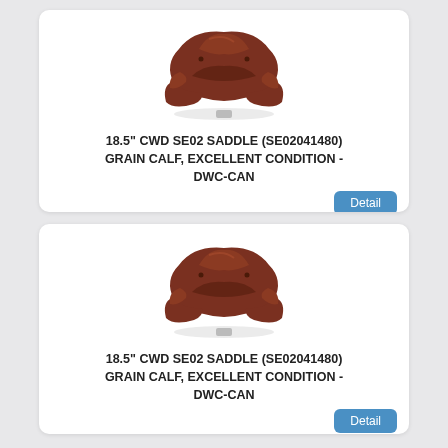[Figure (photo): Brown leather horse saddle (CWD SE02 style) photographed on white background, top card]
18.5" CWD SE02 SADDLE (SE02041480) GRAIN CALF, EXCELLENT CONDITION - DWC-CAN
[Figure (photo): Brown leather horse saddle (CWD SE02 style) photographed on white background, bottom card]
18.5" CWD SE02 SADDLE (SE02041480) GRAIN CALF, EXCELLENT CONDITION - DWC-CAN